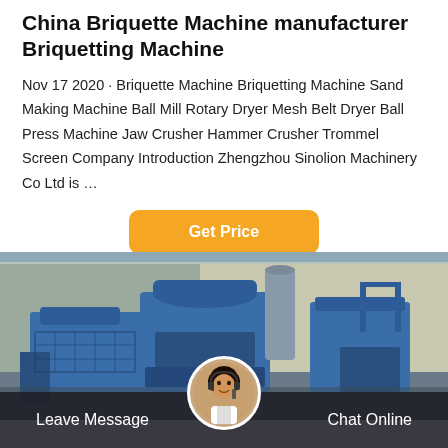China Briquette Machine manufacturer Briquetting Machine
Nov 17 2020 · Briquette Machine Briquetting Machine Sand Making Machine Ball Mill Rotary Dryer Mesh Belt Dryer Ball Press Machine Jaw Crusher Hammer Crusher Trommel Screen Company Introduction Zhengzhou Sinolion Machinery Co Ltd is …
[Figure (other): Orange 'Get Price' button]
[Figure (photo): Photo of large blue industrial briquette/sand making machinery in a warehouse or factory setting]
Leave Message   Chat Online